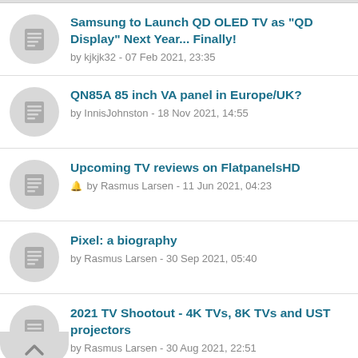Samsung to Launch QD OLED TV as "QD Display" Next Year... Finally! by kjkjk32 - 07 Feb 2021, 23:35
QN85A 85 inch VA panel in Europe/UK? by InnisJohnston - 18 Nov 2021, 14:55
Upcoming TV reviews on FlatpanelsHD by Rasmus Larsen - 11 Jun 2021, 04:23
Pixel: a biography by Rasmus Larsen - 30 Sep 2021, 05:40
2021 TV Shootout - 4K TVs, 8K TVs and UST projectors by Rasmus Larsen - 30 Aug 2021, 22:51
8K TVs Top TV Line-ups for a Reason